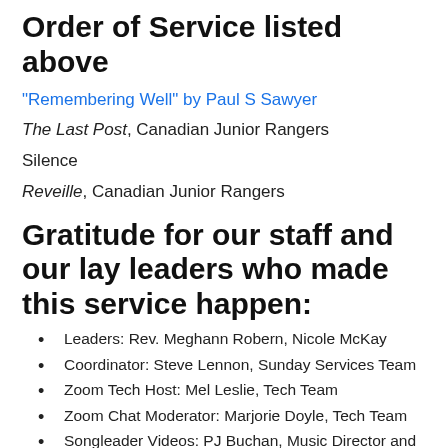Order of Service listed above
"Remembering Well" by Paul S Sawyer
The Last Post, Canadian Junior Rangers
Silence
Reveille, Canadian Junior Rangers
Gratitude for our staff and our lay leaders who made this service happen:
Leaders: Rev. Meghann Robern, Nicole McKay
Coordinator: Steve Lennon, Sunday Services Team
Zoom Tech Host: Mel Leslie, Tech Team
Zoom Chat Moderator: Marjorie Doyle, Tech Team
Songleader Videos: PJ Buchan, Music Director and the FUUW Choir; Paul Rodermond, accompanist;